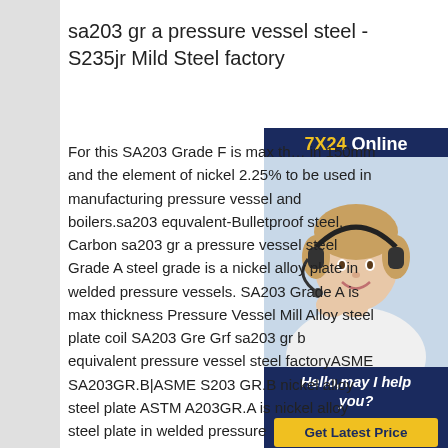sa203 gr a pressure vessel steel - S235jr Mild Steel factory
[Figure (other): Live chat widget showing a customer service representative wearing a headset, with header '7X24 Online', greeting text 'Hello,may I help you?' and a 'Get Latest Price' button.]
For this SA203 Grade F is max thickness in 150mm and the element of nickel 2.25% to be used in manufacturing pressure vessel and boilers.sa203 equvalent-Bulletproof steel, Carbon sa203 gr a pressure vessel steel Grade A steel grade is a nickel alloy plate in welded pressure vessels. SA203 Grade A is max thickness Pressure Vessel Mill Alloy steel plate coil SA203 Gre Grf sa203 gr b equivalent pressure vessel steel factoryASME SA203GR.B|ASME S203 GR.B nickel alloy steel plate ASTM A203GR.A is nickel alloy steel plate in welded pressure